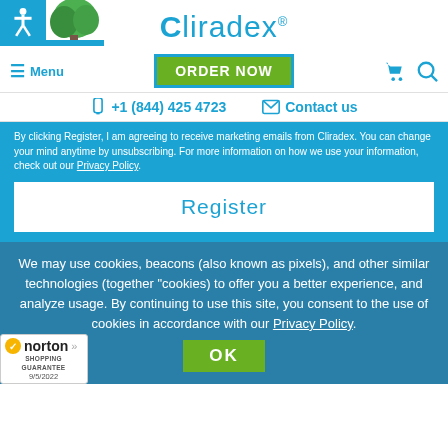Cliradex® — Menu | ORDER NOW | cart | search
+1 (844) 425 4723   Contact us
By clicking Register, I am agreeing to receive marketing emails from Cliradex. You can change your mind anytime by unsubscribing. For more information on how we use your information, check out our Privacy Policy.
Register
We may use cookies, beacons (also known as pixels), and other similar technologies (together "cookies) to offer you a better experience, and analyze usage. By continuing to use this site, you consent to the use of cookies in accordance with our Privacy Policy.
OK